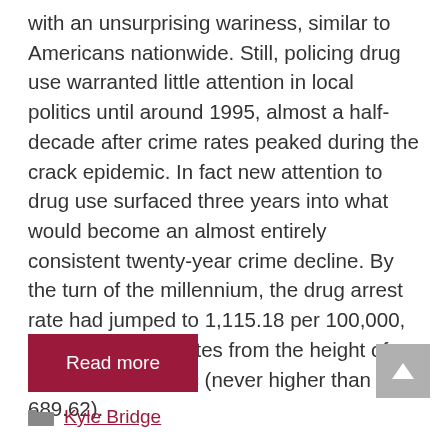with an unsurprising wariness, similar to Americans nationwide. Still, policing drug use warranted little attention in local politics until around 1995, almost a half-decade after crime rates peaked during the crack epidemic. In fact new attention to drug use surfaced three years into what would become an almost entirely consistent twenty-year crime decline. By the turn of the millennium, the drug arrest rate had jumped to 1,115.18 per 100,000, almost doubling rates from the height of the crack epidemic (never higher than 689.62).
Read more
Kyle Bridge